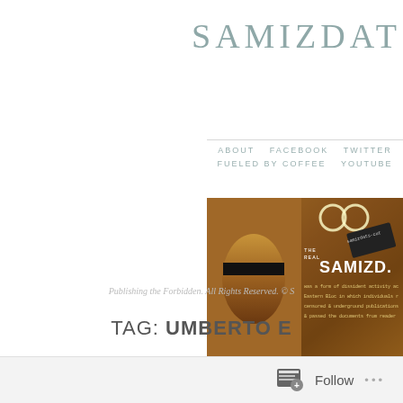SAMIZDAT
ABOUT   FACEBOOK   TWITTER   FUELED BY COFFEE   YOUTUBE
[Figure (photo): Samizdat blog banner image with a face with black bar over eyes on the left, and text 'THE REAL SAMIZD...' with dissident activity description on the right, golden/brown tones throughout]
Publishing the Forbidden. All Rights Reserved. © S
TAG: UMBERTO E
Follow ...